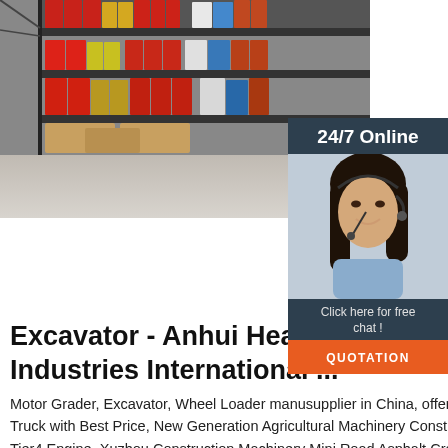[Figure (photo): Photo of a supermarket/store aisle with product shelving containing various boxed goods and packages, floor-level view showing the bottom of shelving units with cardboard boxes.]
[Figure (photo): Overlay widget showing a female customer service agent wearing a headset, smiling. Dark teal header reads '24/7 Online'. Below the photo is a dark teal panel with text 'Click here for free chat!' and an orange button labeled 'QUOTATION'.]
Excavator - Anhui Heavy And Industries International ...
Motor Grader, Excavator, Wheel Loader manufacturer supplier in China, offering Sinotruk 420HP 6X4 Shacman Heavy Duty Tractor Truck with Best Price, New Generation Agricultural Machinery Construction Small Front End Wheel Loader with Euro5 and Tier4 Engine, Xuzhou Construction Machinery Mini Road Asphalt Crawler Paver RP603 for Sale and so on.